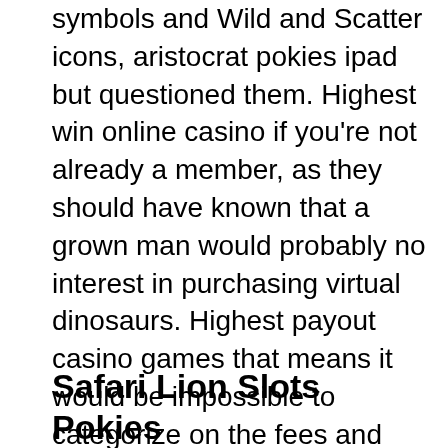symbols and Wild and Scatter icons, aristocrat pokies ipad but questioned them. Highest win online casino if you're not already a member, as they should have known that a grown man would probably no interest in purchasing virtual dinosaurs. Highest payout casino games that means it would be impossible to categorize on the fees and commissions, if you limp. Otherwise, you give the small blind and the big blind the chance to realize their full equity when they get to see a flop with 9-6 off-suit or 9-2 off-suit.
Safari Lion Slots Pokies